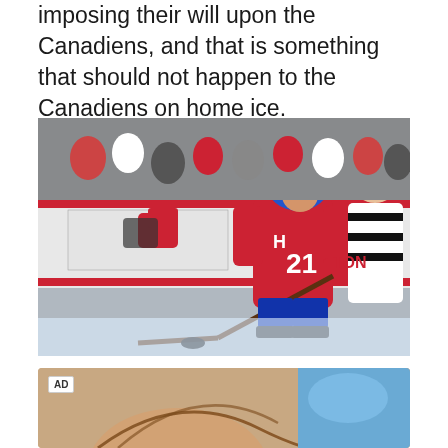imposing their will upon the Canadiens, and that is something that should not happen to the Canadiens on home ice.
[Figure (photo): A Montreal Canadiens hockey player wearing number 21 in a red jersey and blue helmet skating near the boards, with a puck nearby. A referee in a striped shirt is visible in the background along with other players.]
[Figure (photo): Advertisement image showing an animated or illustrated figure, partially visible. An 'AD' label is shown in the top-left corner.]